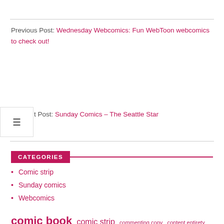Previous Post: Wednesday Webcomics: Fun WebToon webcomics to check out!
Next Post: Sunday Comics – The Seattle Star
CATEGORIES
Comic strip
Sunday comics
Webcomics
comic book  comic strip  commenting copy  content entirety  continue reading  copy content  copyright geekiaire  encouraged copyright entirety websites  geekiaire related  links encouraged  read commenting